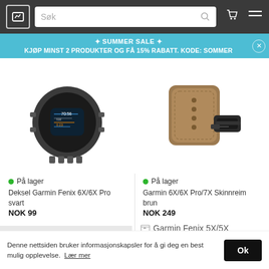Søk
✦ SUMMER SALE ✦ KJØP MINST 2 PRODUKTER OG FÅ 15% RABATT. KODE: SOMMER
[Figure (photo): Garmin Fenix 6X/6X Pro black case protector smartwatch]
På lager
Deksel Garmin Fenix 6X/6X Pro svart
NOK 99
[Figure (photo): Garmin 6X/6X Pro/7X brown leather strap]
På lager
Garmin 6X/6X Pro/7X Skinnreim brun
NOK 249
[Figure (photo): Garmin Fenix 5X/5X product image (partially visible)]
Garmin Fenix 5X/5X
Denne nettsiden bruker informasjonskapsler for å gi deg en best mulig opplevelse. Lær mer